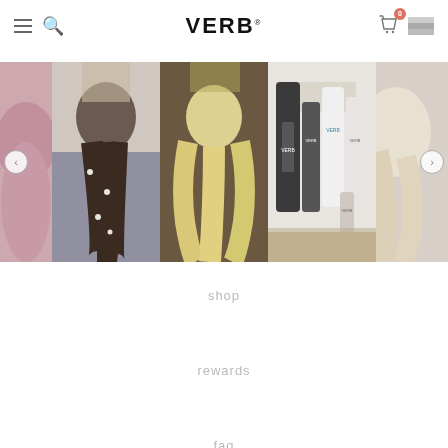VERB
[Figure (photo): Image carousel showing 5 hair product and hairstyle photos: partial pink-toned hair, dark braided hair with pearl pins, blonde wavy hair from behind, VERB branded product bottles, partial blonde wavy hair]
shop
rewards
faq